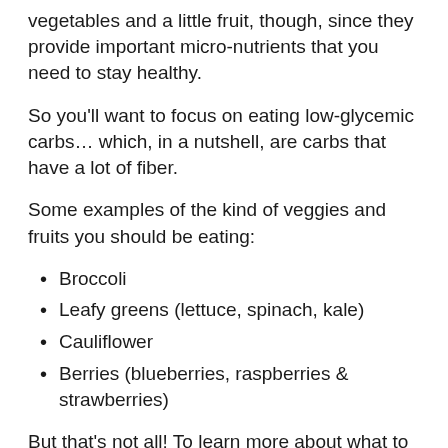vegetables and a little fruit, though, since they provide important micro-nutrients that you need to stay healthy.
So you'll want to focus on eating low-glycemic carbs… which, in a nutshell, are carbs that have a lot of fiber.
Some examples of the kind of veggies and fruits you should be eating:
Broccoli
Leafy greens (lettuce, spinach, kale)
Cauliflower
Berries (blueberries, raspberries & strawberries)
But that's not all! To learn more about what to eat on a keto diet, check out this article...